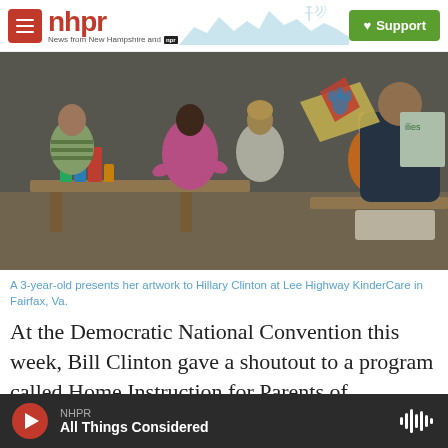nhpr — News from New Hampshire and NPR | Support
[Figure (photo): Children playing at tables in a classroom; an adult leans over to interact with a child holding colorful paper artwork. A woman in a pink shirt sits at a table with building blocks. Another child in an orange shirt stands with their back to the camera.]
A 3-year-old presents her artwork to Hillary Clinton at Lee Highway KinderCare in Fairfax, Va.
At the Democratic National Convention this week, Bill Clinton gave a shoutout to a program called Home Instruction for Parents of Preschool Youth
NHPR — All Things Considered